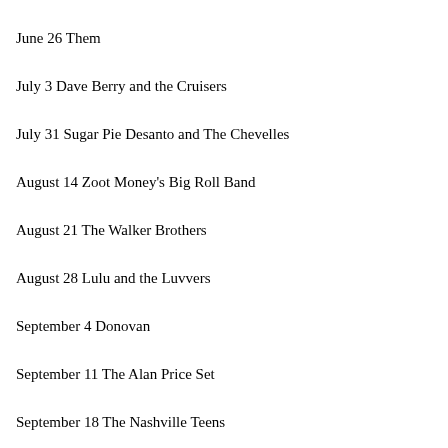June 26 Them
July 3 Dave Berry and the Cruisers
July 31 Sugar Pie Desanto and The Chevelles
August 14 Zoot Money's Big Roll Band
August 21 The Walker Brothers
August 28 Lulu and the Luvvers
September 4 Donovan
September 11 The Alan Price Set
September 18 The Nashville Teens